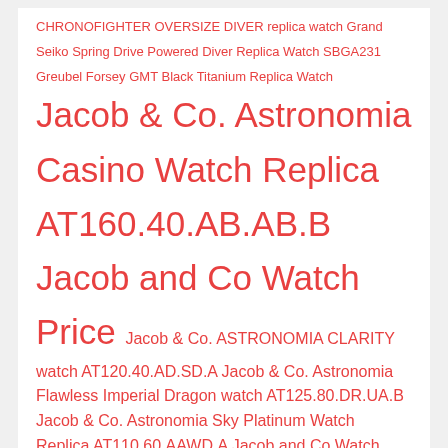CHRONOFIGHTER OVERSIZE DIVER replica watch Grand Seiko Spring Drive Powered Diver Replica Watch SBGA231 Greubel Forsey GMT Black Titanium Replica Watch Jacob & Co. Astronomia Casino Watch Replica AT160.40.AB.AB.B Jacob and Co Watch Price Jacob & Co. ASTRONOMIA CLARITY watch AT120.40.AD.SD.A Jacob & Co. Astronomia Flawless Imperial Dragon watch AT125.80.DR.UA.B Jacob & Co. Astronomia Sky Platinum Watch Replica AT110.60.AAWD.A Jacob and Co Watch Price Jacob & Co. Astronomia Solar Baguette Jewellery Planets Zodiac watch AS910.40.BD.BD.A Jacob & Co. Astronomia Solar Jewellery Planets Zodiac watch AS310.40.SP.ZK.A Jacob & Co. Astronomia Tourbillon 3D Watch Replica AT800.30.BD.UI.B Jacob & Co. Astronomia TOURBILLON BLACK GOLD Watch Replica AT100.31.AC.SD.A Jacob & Co. Astronomia watch AF321.40.BA.AB.A Jacob & Co. Bugatti Chiron Tourbillon Watch Jacob & Co.